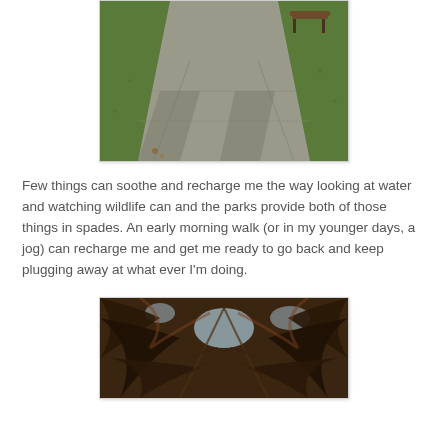[Figure (photo): A park sidewalk/pathway with green grass on both sides, shadows cast across the concrete, and a bench visible in the upper right corner.]
Few things can soothe and recharge me the way looking at water and watching wildlife can and the parks provide both of those things in spades. An early morning walk (or in my younger days, a jog) can recharge me and get me ready to go back and keep plugging away at what ever I'm doing.
[Figure (photo): Close-up view looking up through palm tree fronds with dark silhouettes of the fronds against a light sky.]